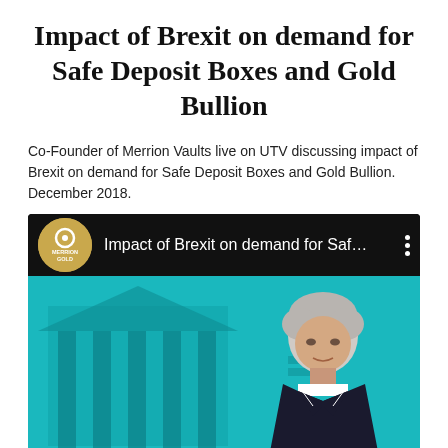Impact of Brexit on demand for Safe Deposit Boxes and Gold Bullion
Co-Founder of Merrion Vaults live on UTV discussing impact of Brexit on demand for Safe Deposit Boxes and Gold Bullion. December 2018.
[Figure (screenshot): YouTube video thumbnail showing 'Impact of Brexit on demand for Saf...' with Merrion Gold logo on a dark top bar and a teal-tinted video frame showing a man being interviewed in front of a classical building background.]